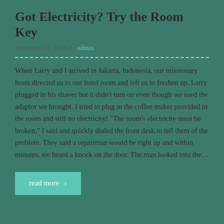Got Electricity? Try the Room Key
December 31, 2018, by admin
When Larry and I arrived in Jakarta, Indonesia, our missionary hosts directed us to our hotel room and left us to freshen up. Larry plugged in his shaver but it didn't turn on even though we used the adaptor we brought. I tried to plug in the coffee maker provided in the room and still no electricity! "The room's electricity must be broken," I said and quickly dialed the front desk to tell them of the problem. They said a repairman would be right up and within minutes, we heard a knock on the door. The man looked into the...
read more